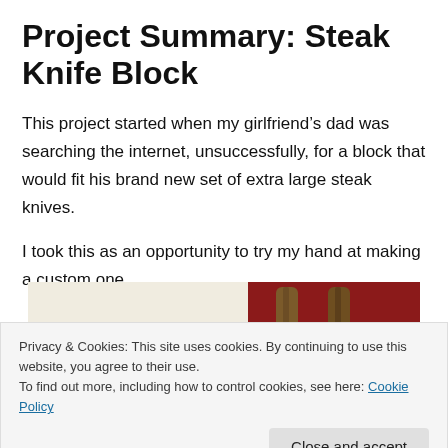Project Summary: Steak Knife Block
This project started when my girlfriend’s dad was searching the internet, unsuccessfully, for a block that would fit his brand new set of extra large steak knives.
I took this as an opportunity to try my hand at making a custom one.
[Figure (photo): Photo of steak knives in a wooden knife block, showing handles against a red and cream background]
Privacy & Cookies: This site uses cookies. By continuing to use this website, you agree to their use.
To find out more, including how to control cookies, see here: Cookie Policy